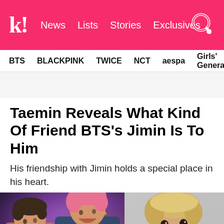k! News Lists Stories Exclusives
BTS  BLACKPINK  TWICE  NCT  aespa  Girls' Generation
Taemin Reveals What Kind Of Friend BTS’s Jimin Is To Him
His friendship with Jimin holds a special place in his heart.
[Figure (photo): Two young men on stage laughing together, one in a tiger-stripe jacket, the other in a floral shirt with pink hair, purple background]
[Figure (photo): A smiling young man with blonde hair against a grey wall]